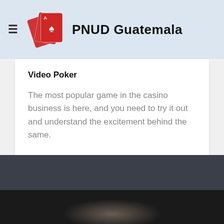PNUD Guatemala
Video Poker
The most popular game in the casino business is here, and you need to try it out and understand the excitement behind the same.
[Figure (photo): Dark background section with a partially visible bottom image strip showing blurred figures]